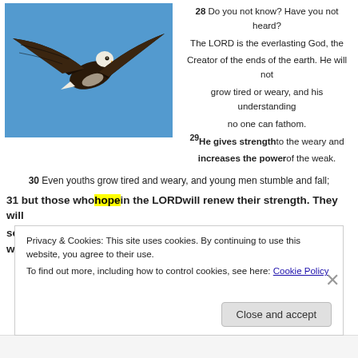[Figure (photo): A bald eagle in flight against a blue sky, wings spread wide, seen from below and slightly to the side.]
28 Do you not know? Have you not heard? The LORD is the everlasting God, the Creator of the ends of the earth. He will not grow tired or weary, and his understanding no one can fathom. 29He gives strength to the weary and increases the power of the weak.
30 Even youths grow tired and weary, and young men stumble and fall;
31 but those who hope in the LORD will renew their strength. They will soar on wings like eagles; they will run and not grow weary, they will walk and
Privacy & Cookies: This site uses cookies. By continuing to use this website, you agree to their use.
To find out more, including how to control cookies, see here: Cookie Policy